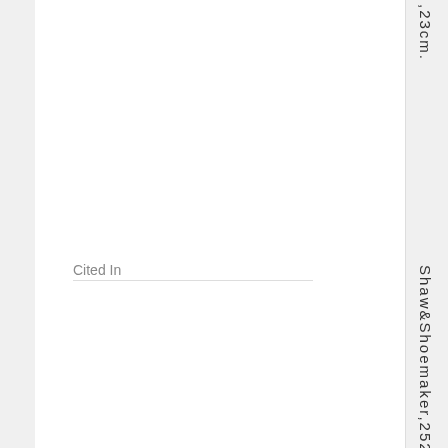,23cm.
Cited In
Shaw&Shoemaker,25296